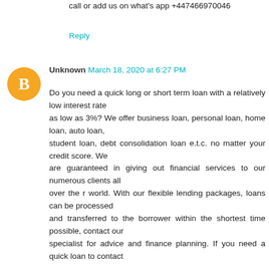call or add us on what's app +447466970046
Reply
Unknown March 18, 2020 at 6:27 PM
Do you need a quick long or short term loan with a relatively low interest rate as low as 3%? We offer business loan, personal loan, home loan, auto loan, student loan, debt consolidation loan e.t.c. no matter your credit score. We are guaranteed in giving out financial services to our numerous clients all over the r world. With our flexible lending packages, loans can be processed and transferred to the borrower within the shortest time possible, contact our specialist for advice and finance planning. If you need a quick loan to contact